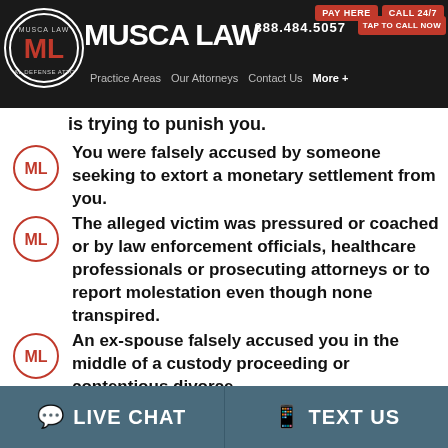MUSCA LAW — 888.484.5057 — PAY HERE | CALL 24/7 | TAP TO CALL NOW | Practice Areas | Our Attorneys | Contact Us | More +
is trying to punish you.
You were falsely accused by someone seeking to extort a monetary settlement from you.
The alleged victim was pressured or coached or by law enforcement officials, healthcare professionals or prosecuting attorneys or to report molestation even though none transpired.
An ex-spouse falsely accused you in the middle of a custody proceeding or contentious divorce.
You were falsely accused by someone...
LIVE CHAT   TEXT US